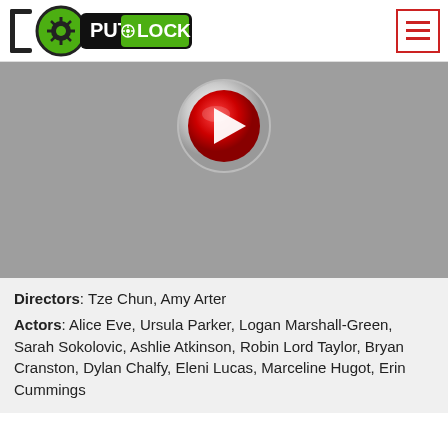[Figure (logo): Putlocker logo with film reel icon and hamburger menu button]
[Figure (screenshot): Gray video player area with red play button in center-top]
Directors: Tze Chun, Amy Arter
Actors: Alice Eve, Ursula Parker, Logan Marshall-Green, Sarah Sokolovic, Ashlie Atkinson, Robin Lord Taylor, Bryan Cranston, Dylan Chalfy, Eleni Lucas, Marceline Hugot, Erin Cummings